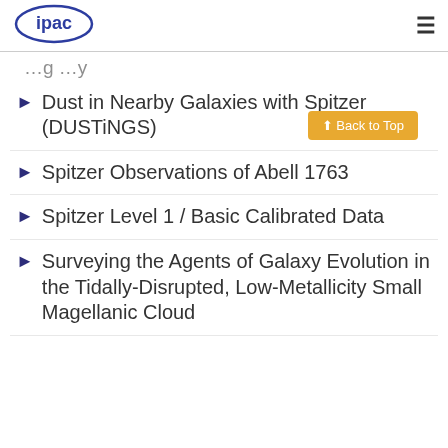ipac
...g ...y (partial, cut off)
Dust in Nearby Galaxies with Spitzer (DUSTiNGS)
Spitzer Observations of Abell 1763
Spitzer Level 1 / Basic Calibrated Data
Surveying the Agents of Galaxy Evolution in the Tidally-Disrupted, Low-Metallicity Small Magellanic Cloud